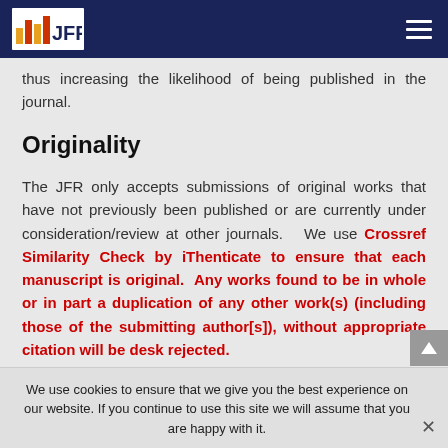JFR
thus increasing the likelihood of being published in the journal.
Originality
The JFR only accepts submissions of original works that have not previously been published or are currently under consideration/review at other journals.   We use Crossref Similarity Check by iThenticate to ensure that each manuscript is original.  Any works found to be in whole or in part a duplication of any other work(s) (including those of the submitting author[s]), without appropriate citation will be desk rejected.
We use cookies to ensure that we give you the best experience on our website. If you continue to use this site we will assume that you are happy with it.